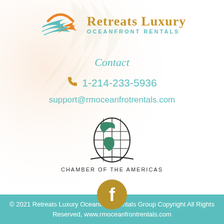[Figure (logo): Retreats Luxury Oceanfront Rentals logo with teal wave/bird graphic and orange sun, gold serif text 'Retreats Luxury' and teal caps 'OCEANFRONT RENTALS']
Contact
1-214-233-5936
support@rmoceanfrotrentals.com
[Figure (logo): Chamber of the Americas globe logo with green Americas continents and black grid lines, text 'CHAMBER OF THE AMERICAS' below]
[Figure (logo): Facebook icon: gold/brown circle with white 'f' letter]
© 2021 Retreats Luxury Oceanfront Rentals Group Copyright All Rights Reserved, www.rmoceanfrontrentals.com